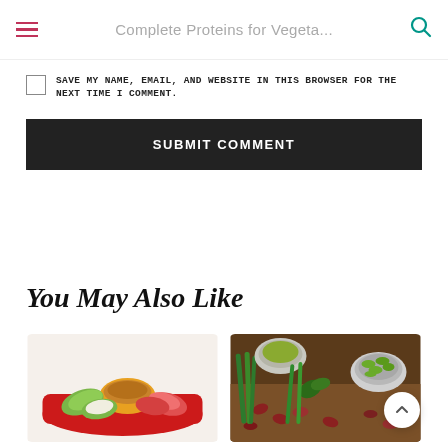Complete Proteins for Vegeta...
SAVE MY NAME, EMAIL, AND WEBSITE IN THIS BROWSER FOR THE NEXT TIME I COMMENT.
SUBMIT COMMENT
You May Also Like
[Figure (photo): Apple slices on a red plate with a bowl of caramel dipping sauce]
[Figure (photo): Assorted vegetables, legumes, beans and seeds including edamame, asparagus and herbs arranged on a surface]